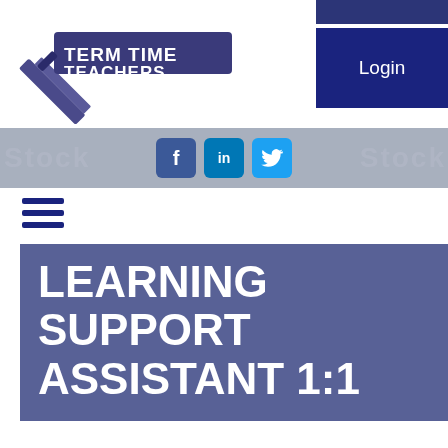[Figure (logo): Term Time Teachers logo with pencil graphic and banner text]
Login
[Figure (infographic): Social media icons: Facebook, LinkedIn, Twitter on blurred background]
[Figure (other): Hamburger menu icon (three horizontal lines)]
LEARNING SUPPORT ASSISTANT 1:1